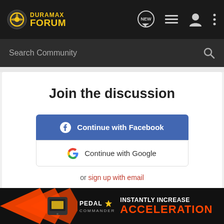Duramax Forum
Search Community
Join the discussion
Continue with Facebook
Continue with Google
or sign up with email
Recommended Reading
Unloa...
[Figure (screenshot): Pedal Commander advertisement banner with orange arrows, device photo, logo and text INSTANTLY INCREASE ACCELERATION]